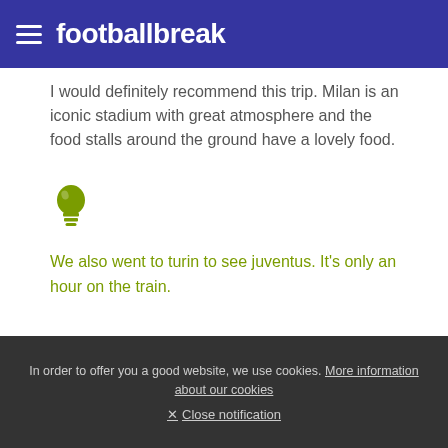footballbreak
I would definitely recommend this trip. Milan is an iconic stadium with great atmosphere and the food stalls around the ground have a lovely food.
[Figure (illustration): Green light bulb icon representing a tip or suggestion]
We also went to turin to see juventus. It's only an hour on the train.
In order to offer you a good website, we use cookies. More information about our cookies × Close notification